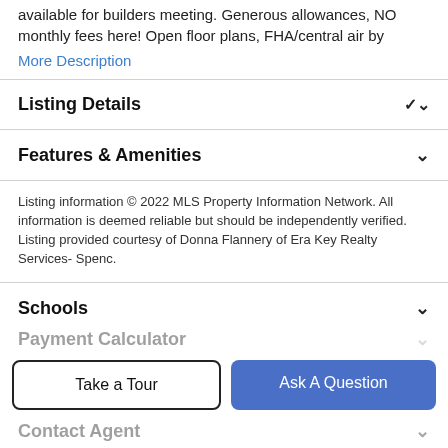available for builders meeting. Generous allowances, NO monthly fees here! Open floor plans, FHA/central air by
More Description
Listing Details
Features & Amenities
Listing information © 2022 MLS Property Information Network. All information is deemed reliable but should be independently verified. Listing provided courtesy of Donna Flannery of Era Key Realty Services- Spenc.
Schools
Payment Calculator
Take a Tour
Ask A Question
Contact Agent